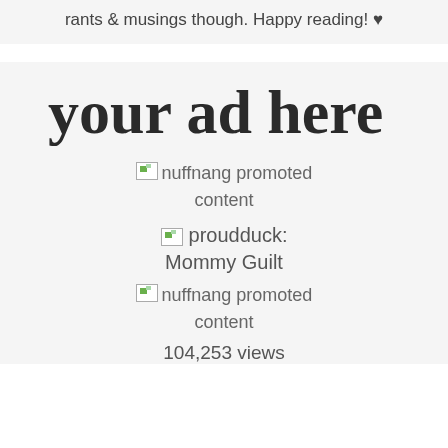rants & musings though. Happy reading! ♥
[Figure (other): Ad placeholder section with cursive text 'your ad here']
nuffnang promoted content
proudduck: Mommy Guilt
nuffnang promoted content
104,253 views